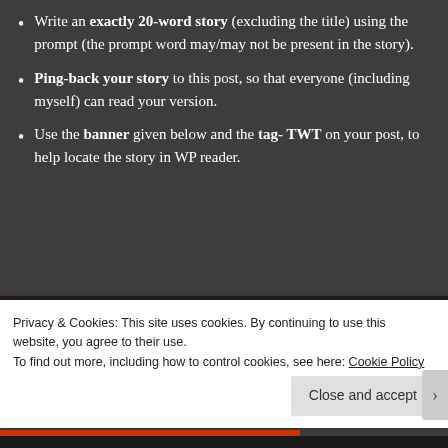Write an exactly 20-word story (excluding the title) using the prompt (the prompt word may/may not be present in the story).
Ping-back your story to this post, so that everyone (including myself) can read your version.
Use the banner given below and the tag- TWT on your post, to help locate the story in WP reader.
[Figure (photo): A dark wooden surface or plank, photographed from above, with a dark brown and black grain texture.]
Privacy & Cookies: This site uses cookies. By continuing to use this website, you agree to their use.
To find out more, including how to control cookies, see here: Cookie Policy
Close and accept